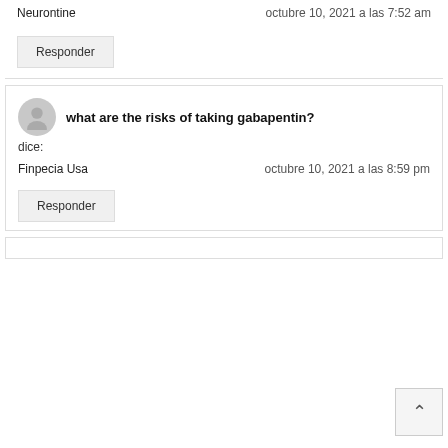Neurontine
octubre 10, 2021 a las 7:52 am
Responder
what are the risks of taking gabapentin?
dice:
Finpecia Usa
octubre 10, 2021 a las 8:59 pm
Responder